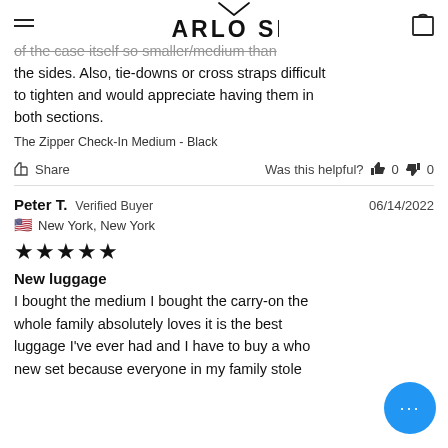ARLO SKYE
of the case itself so smaller/medium than the sides. Also, tie-downs or cross straps difficult to tighten and would appreciate having them in both sections.
The Zipper Check-In Medium - Black
Share  |  Was this helpful?  👍 0  👎 0
Peter T.  Verified Buyer  |  06/14/2022
🇺🇸 New York, New York
★★★★★
New luggage
I bought the medium I bought the carry-on the whole family absolutely loves it is the best luggage I've ever had and I have to buy a whole new set because everyone in my family stole